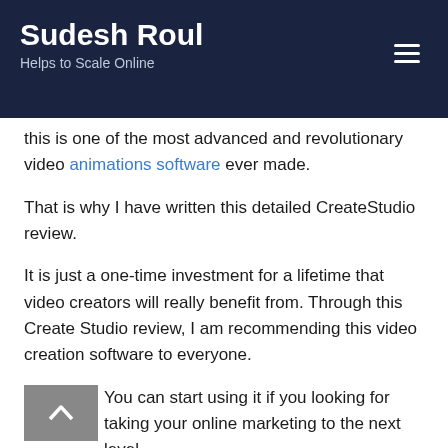Sudesh Roul — Helps to Scale Online
this is one of the most advanced and revolutionary video animations software ever made.
That is why I have written this detailed CreateStudio review.
It is just a one-time investment for a lifetime that video creators will really benefit from. Through this Create Studio review, I am recommending this video creation software to everyone.
You can start using it if you looking for taking your online marketing to the next level.
Rather than i...